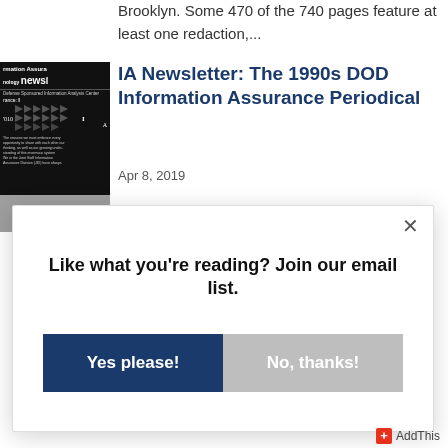Brooklyn. Some 470 of the 740 pages feature at least one redaction,...
[Figure (screenshot): Thumbnail image of IA Newsletter document cover - dark/black background with white text showing 'rmation Assura nology news/' and chevron patterns]
IA Newsletter: The 1990s DOD Information Assurance Periodical
Apr 8, 2019
Beginning in 1997 the Department of Defense Information Assurance Technology Analysis Center (IATAC) published a newsletter on the...
Like what you're reading? Join our email list.
Yes please!
No, thanks!
AddThis